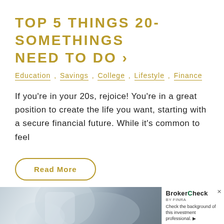TOP 5 THINGS 20-SOMETHINGS NEED TO DO ›
Education , Savings , College , Lifestyle , Finance
If you're in your 20s, rejoice! You're in a great position to create the life you want, starting with a secure financial future. While it's common to feel
Read More
[Figure (photo): Bottom portion showing a person in a denim jacket with a BrokerCheck by FINRA advertisement panel on the right side.]